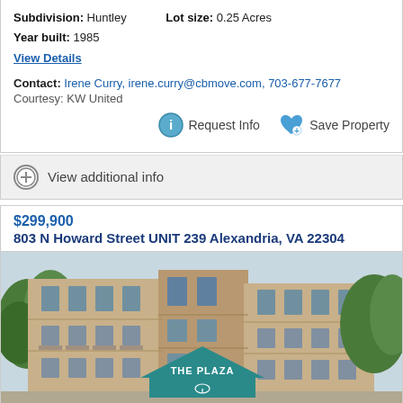Subdivision: Huntley   Lot size: 0.25 Acres
Year built: 1985
View Details
Contact: Irene Curry, irene.curry@cbmove.com, 703-677-7677
Courtesy: KW United
Request Info   Save Property
View additional info
$299,900
803 N Howard Street UNIT 239 Alexandria, VA 22304
[Figure (photo): Exterior photo of The Plaza condominium building in Alexandria, VA — a multi-story brick/tan building with balconies and a teal entrance sign reading THE PLAZA]